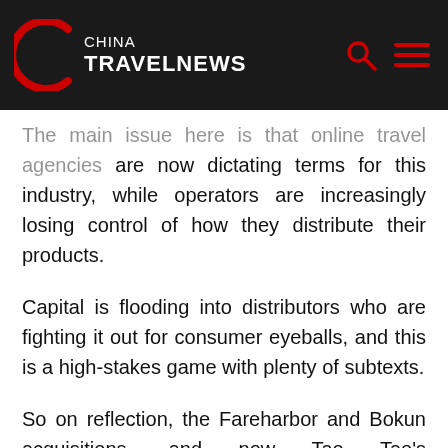China TravelNews
The main issue here is that online travel agencies are now dictating terms for this industry, while operators are increasingly losing control of how they distribute their products.
Capital is flooding into distributors who are fighting it out for consumer eyeballs, and this is a high-stakes game with plenty of subtexts.
So on reflection, the Fareharbor and Bokun acquisitions, and now Tao Tao's announcement, are like pebbles dropping in the ocean.
A greater impact may have been more visible for operators as reservation technology is where they make their investments, but the startling